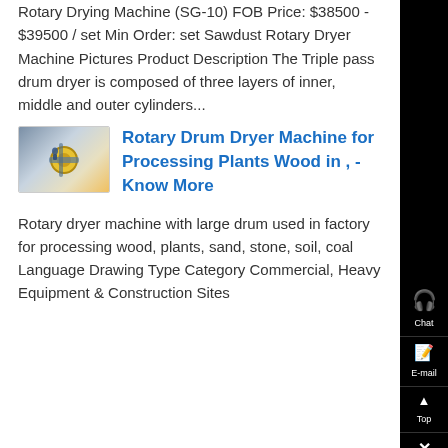Rotary Drying Machine (SG-10) FOB Price: $38500 - $39500 / set Min Order: set Sawdust Rotary Dryer Machine Pictures Product Description The Triple pass drum dryer is composed of three layers of inner, middle and outer cylinders...
[Figure (photo): Thumbnail photo of a rotary drum dryer machine, showing a worker and industrial drum equipment with yellow circular element]
Rotary Drum Dryer Machine for Processing Plants Wood in , - Know More
Rotary dryer machine with large drum used in factory for processing wood, plants, sand, stone, soil, coal Language Drawing Type Category Commercial, Heavy Equipment & Construction Sites